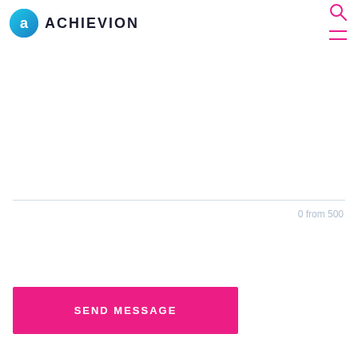[Figure (logo): Achievion logo with circular blue-teal icon containing letter A and text ACHIEVION in bold dark letters]
[Figure (other): Search icon (magnifying glass) in pink/magenta color, top right of navigation bar]
[Figure (other): Hamburger menu icon (two horizontal lines) in pink/magenta color, top right of navigation bar]
0 from 500
SEND MESSAGE